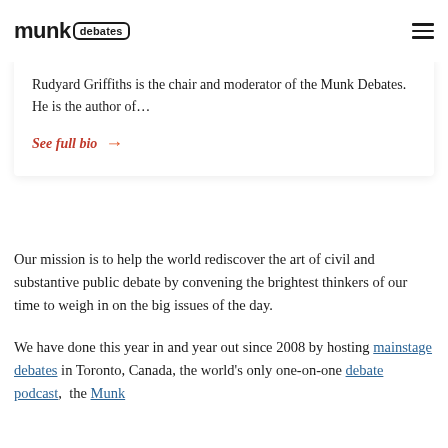munk debates
Rudyard Griffiths is the chair and moderator of the Munk Debates. He is the author of…
See full bio →
Our mission is to help the world rediscover the art of civil and substantive public debate by convening the brightest thinkers of our time to weigh in on the big issues of the day.
We have done this year in and year out since 2008 by hosting mainstage debates in Toronto, Canada, the world's only one-on-one debate podcast,  the Munk